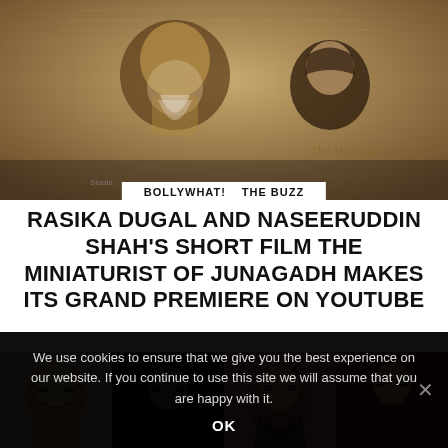[Figure (photo): Movie poster for 'The Miniaturist of Junagadh' showing an elderly man with white beard and a young woman in period costume, sepia/painted tone]
BOLLYWHAT!   THE BUZZ
RASIKA DUGAL AND NASEERUDDIN SHAH'S SHORT FILM THE MINIATURIST OF JUNAGADH MAKES ITS GRAND PREMIERE ON YOUTUBE
[Figure (photo): Four side-by-side photos of Bollywood actresses]
We use cookies to ensure that we give you the best experience on our website. If you continue to use this site we will assume that you are happy with it. OK